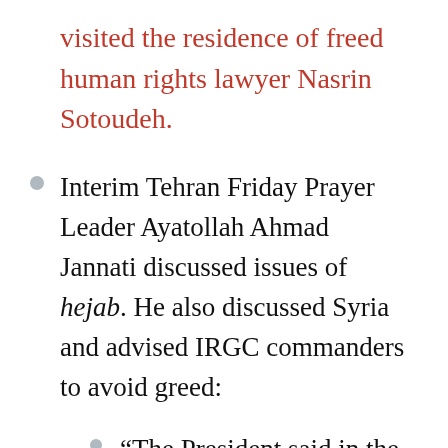visited the residence of freed human rights lawyer Nasrin Sotoudeh.
Interim Tehran Friday Prayer Leader Ayatollah Ahmad Jannati discussed issues of hejab. He also discussed Syria and advised IRGC commanders to avoid greed:
“The President said in the Cultural